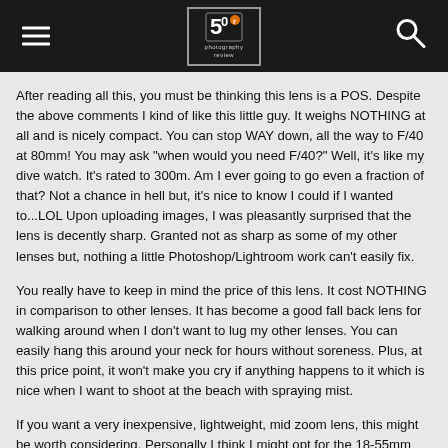Photography Review header with hamburger menu, logo, and search icon
After reading all this, you must be thinking this lens is a POS. Despite the above comments I kind of like this little guy. It weighs NOTHING at all and is nicely compact. You can stop WAY down, all the way to F/40 at 80mm! You may ask "when would you need F/40?" Well, it's like my dive watch. It's rated to 300m. Am I ever going to go even a fraction of that? Not a chance in hell but, it's nice to know I could if I wanted to...LOL Upon uploading images, I was pleasantly surprised that the lens is decently sharp. Granted not as sharp as some of my other lenses but, nothing a little Photoshop/Lightroom work can't easily fix.
You really have to keep in mind the price of this lens. It cost NOTHING in comparison to other lenses. It has become a good fall back lens for walking around when I don't want to lug my other lenses. You can easily hang this around your neck for hours without soreness. Plus, at this price point, it won't make you cry if anything happens to it which is nice when I want to shoot at the beach with spraying mist.
If you want a very inexpensive, lightweight, mid zoom lens, this might be worth considering. Personally I think I might opt for the 18-55mm DX if looking for a DSLR instead of film, though this comment is based solely on the reviews I have read.
Customer Service